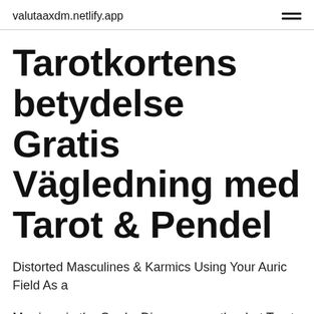valutaaxdm.netlify.app
Tarotkortens betydelse Gratis Vägledning med Tarot & Pendel
Distorted Masculines & Karmics Using Your Auric Field As a
Marriage in the Cards. Discover exactly what Tarot